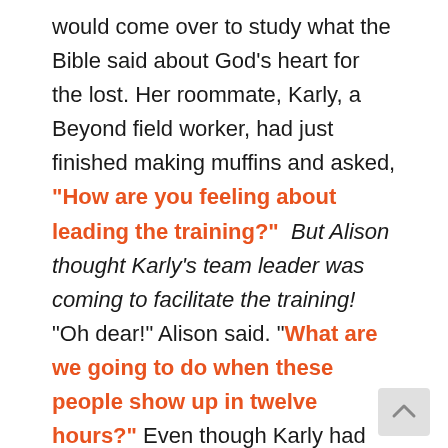would come over to study what the Bible said about God's heart for the lost. Her roommate, Karly, a Beyond field worker, had just finished making muffins and asked, "How are you feeling about leading the training?" But Alison thought Karly's team leader was coming to facilitate the training! "Oh dear!" Alison said. "What are we going to do when these people show up in twelve hours?" Even though Karly had only had four months of learning the local language, she was convinced they could do it without the guest "expert." Alison could give the introduction, and Karly would lead the Scripture study herself. Feelin g